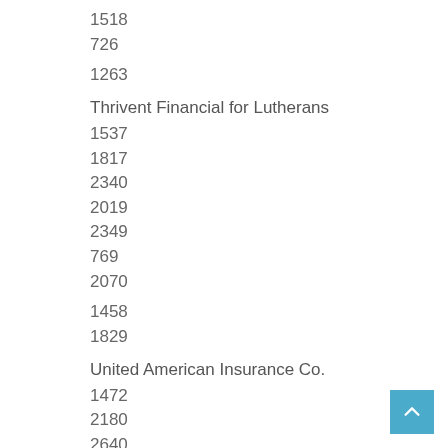1518
726
1263
Thrivent Financial for Lutherans
1537
1817
2340
2019
2349
769
2070
1458
1829
United American Insurance Co.
1472
2180
2640